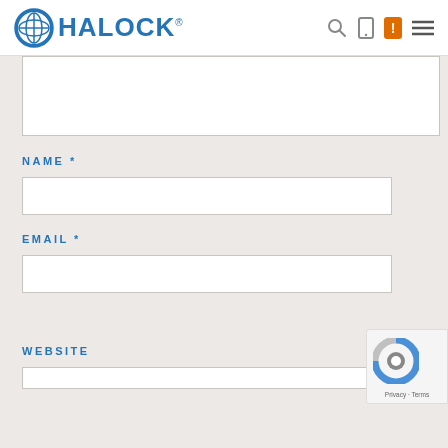[Figure (logo): HALOCK logo with globe icon on white header navigation bar]
NAME *
EMAIL *
WEBSITE